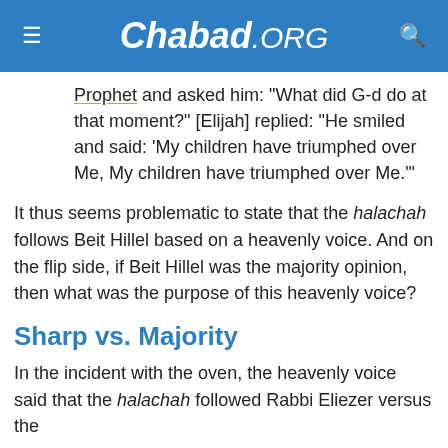Chabad.ORG
Prophet and asked him: "What did G-d do at that moment?" [Elijah] replied: "He smiled and said: 'My children have triumphed over Me, My children have triumphed over Me.'"
It thus seems problematic to state that the halachah follows Beit Hillel based on a heavenly voice. And on the flip side, if Beit Hillel was the majority opinion, then what was the purpose of this heavenly voice?
Sharp vs. Majority
In the incident with the oven, the heavenly voice said that the halachah followed Rabbi Eliezer versus the